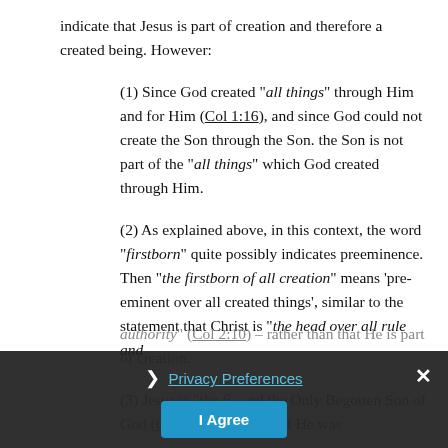indicate that Jesus is part of creation and therefore a created being. However:
(1) Since God created “all things” through Him and for Him (Col 1:16), and since God could not create the Son through the Son. the Son is not part of the “all things” which God created through Him.
(2) As explained above, in this context, the word “firstborn” quite possibly indicates preeminence. Then “the firstborn of all creation” means ‘pre-eminent over all created things’, similar to the statement that Christ is “the head over all rule and authority” (Col 2:10) – rather than that He is part of creation.
(3) Jesus is “the fi… nd the Only Begotten Son of God (Col 1:18; 3:16–18). If He was